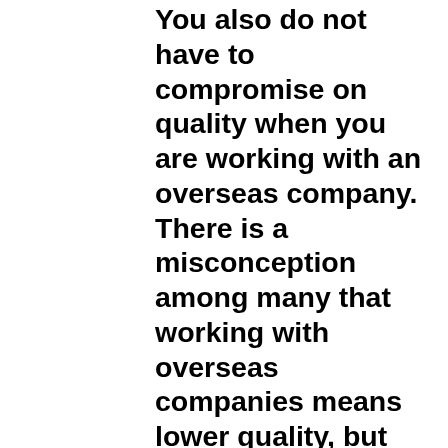You also do not have to compromise on quality when you are working with an overseas company. There is a misconception among many that working with overseas companies means lower quality, but that is not the case at all. As long as you take the time to research the manufacturer you are considering working with for the videogame accessories, and you can be sure they use quality materials and provide great results, it will make you and the end-user of the products happy. Put a little more time in determining whether they are the right option for you by looking at the quality and terms of